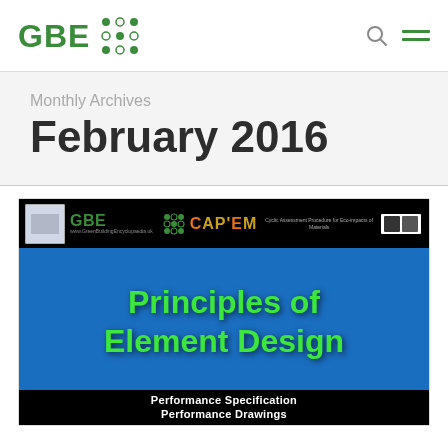GBE
Monthly Archives
February 2016
[Figure (screenshot): GBE and CAPEM branded slide titled 'Principles of Element Design' with subtitle 'Performance Specification' and 'Performance Drawings' on a black background with blue central panel and green bold text.]